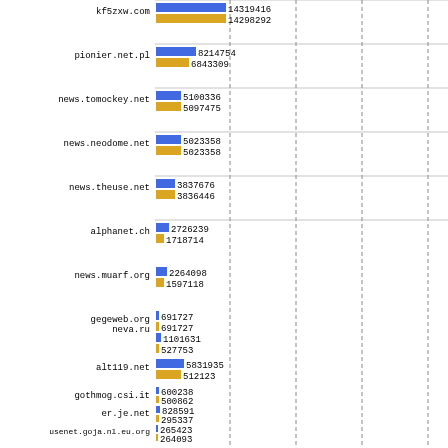[Figure (grouped-bar-chart): Usenet server comparison]